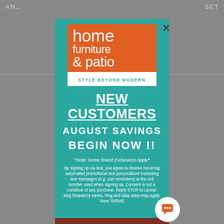AN... SET
[Figure (logo): Home Furniture & Patio logo with orange square background, white text reading 'home furniture & patio', tagline 'STYLE BEYOND MODERN' on white bar below]
NEW CUSTOMERS
AUGUST SAVINGS
BEGIN NOW !!
*Note: Some Brand Exclusions Apply*
By signing up via text, you agree to receive recurring automated promotional and personalized marketing text messages (e.g. cart reminders) at the cell number used when signing up. Consent is not a condition of any purchase. Reply STOP to cancel. Msg frequency varies. Msg and data rates may apply. View TERMS